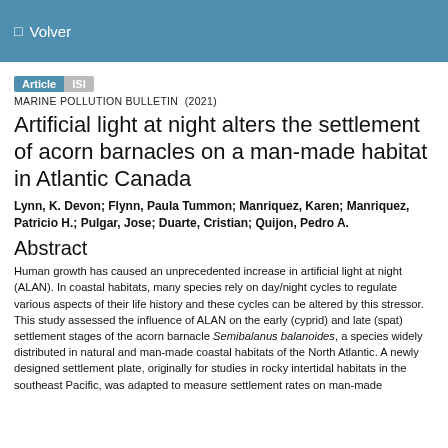Volver
Article  ISI
MARINE POLLUTION BULLETIN  (2021)
Artificial light at night alters the settlement of acorn barnacles on a man-made habitat in Atlantic Canada
Lynn, K. Devon; Flynn, Paula Tummon; Manriquez, Karen; Manriquez, Patricio H.; Pulgar, Jose; Duarte, Cristian; Quijon, Pedro A.
Abstract
Human growth has caused an unprecedented increase in artificial light at night (ALAN). In coastal habitats, many species rely on day/night cycles to regulate various aspects of their life history and these cycles can be altered by this stressor. This study assessed the influence of ALAN on the early (cyprid) and late (spat) settlement stages of the acorn barnacle Semibalanus balanoides, a species widely distributed in natural and man-made coastal habitats of the North Atlantic. A newly designed settlement plate, originally for studies in rocky intertidal habitats in the southeast Pacific, was adapted to measure settlement rates on man-made